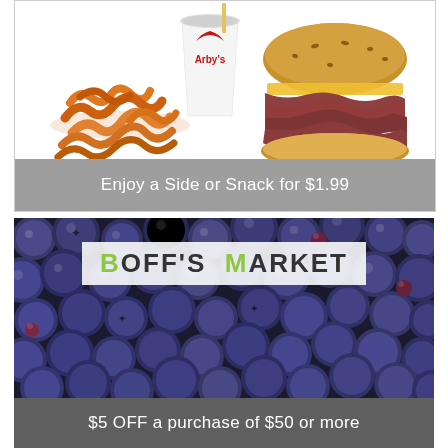[Figure (photo): Arby's coupon with curly fries, drink cup with Arby's logo, and roast beef sandwich on a sesame bun with cheese]
Enjoy a Side or Snack for $1.99
[Figure (photo): Boff's Market coupon with a close-up photo of blueberries and the Boff's Market logo overlaid]
$5 OFF a purchase of $50 or more